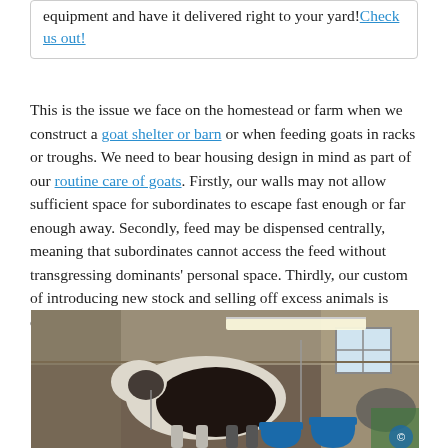equipment and have it delivered right to your yard! Check us out!
This is the issue we face on the homestead or farm when we construct a goat shelter or barn or when feeding goats in racks or troughs. We need to bear housing design in mind as part of our routine care of goats. Firstly, our walls may not allow sufficient space for subordinates to escape fast enough or far enough away. Secondly, feed may be dispensed centrally, meaning that subordinates cannot access the feed without transgressing dominants' personal space. Thirdly, our custom of introducing new stock and selling off excess animals is contrary to does' natural social system of stable family groups.
[Figure (photo): Interior of a barn or goat shelter showing a large dark and white goat in the foreground near blue water buckets, with barn walls, a fluorescent light fixture, and a window visible in the background.]